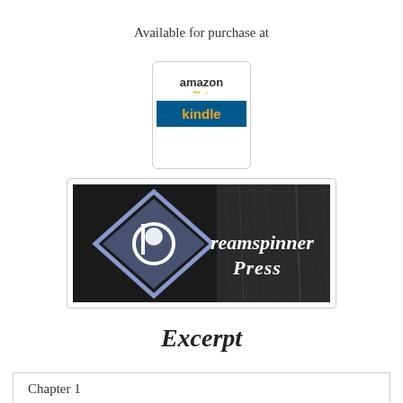Available for purchase at
[Figure (logo): Amazon Kindle logo badge — white top with 'amazon' text and smile arrow, blue bottom with 'kindle' in gold text]
[Figure (logo): Dreamspinner Press logo — dark background with diamond shape containing a spiral 'b' and cursive 'Dreamspinner Press' text in white]
Excerpt
Chapter 1